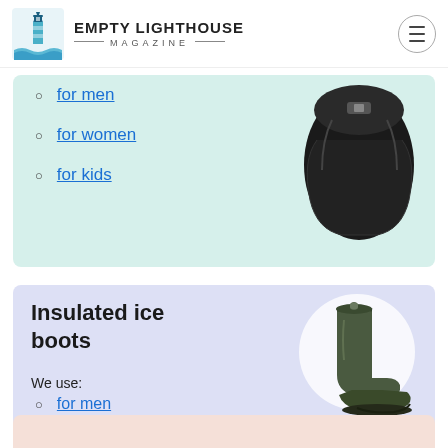EMPTY LIGHTHOUSE MAGAZINE
for men
for women
for kids
[Figure (photo): Black insulated ski or hiking pants/gaiters with buckle, product photo]
Insulated ice boots
We use:
for men
for women
for kids
[Figure (photo): Olive/dark green insulated rubber ice boot, tall with drawstring top, product photo on white circle background]